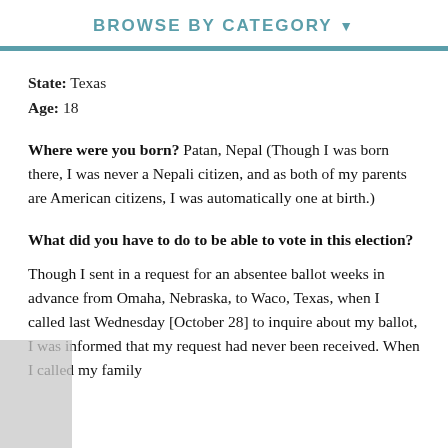BROWSE BY CATEGORY ▼
State: Texas
Age: 18
Where were you born? Patan, Nepal (Though I was born there, I was never a Nepali citizen, and as both of my parents are American citizens, I was automatically one at birth.)
What did you have to do to be able to vote in this election?
Though I sent in a request for an absentee ballot weeks in advance from Omaha, Nebraska, to Waco, Texas, when I called last Wednesday [October 28] to inquire about my ballot, I was informed that my request had never been received. When I called my family...